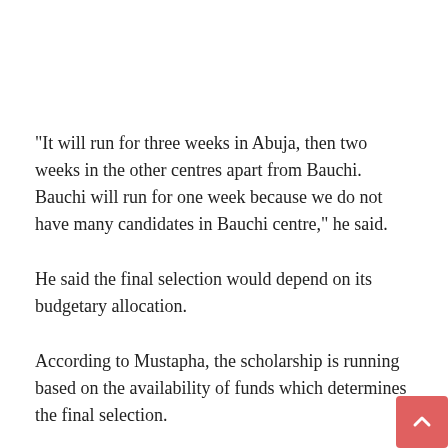“It will run for three weeks in Abuja, then two weeks in the other centres apart from Bauchi. Bauchi will run for one week because we do not have many candidates in Bauchi centre,” he said.
He said the final selection would depend on its budgetary allocation.
According to Mustapha, the scholarship is running based on the availability of funds which determines the final selection.
Mustapha, while describing the interview as one of the criteria